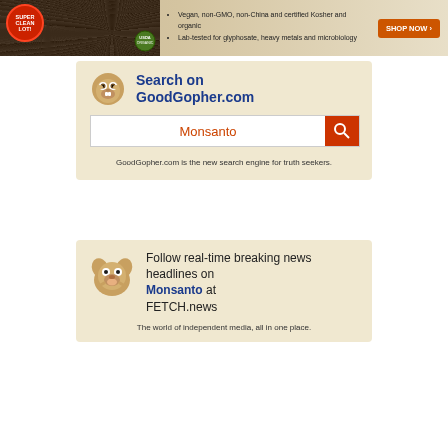[Figure (photo): Advertisement banner for organic chia seeds: Super Clean Lot badge, organic certification logo, text about vegan non-GMO non-China certified Kosher organic, lab-tested for glyphosate heavy metals and microbiology, with orange SHOP NOW button]
[Figure (infographic): GoodGopher.com search widget with gopher mascot logo, blue bold title 'Search on GoodGopher.com', search box containing red text 'Monsanto' and orange search button, description text below]
GoodGopher.com is the new search engine for truth seekers.
[Figure (infographic): FETCH.news widget with cartoon dog mascot, text 'Follow real-time breaking news headlines on Monsanto at FETCH.news']
The world of independent media, all in one place.